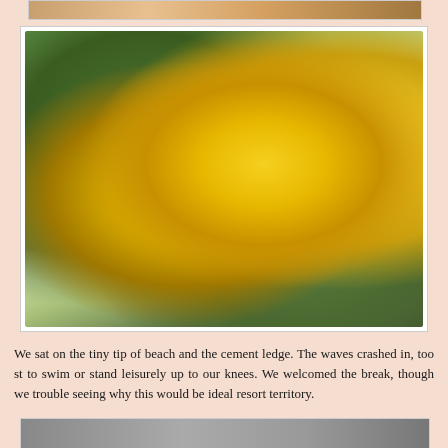[Figure (photo): Partial view of a colorful photograph at the top of the page, cropped]
[Figure (photo): Close-up photograph of bright yellow trumpet-shaped flowers (likely Tecoma stans or similar) with green leaves against a light sky background]
We sat on the tiny tip of beach and the cement ledge. The waves crashed in, too st to swim or stand leisurely up to our knees. We welcomed the break, though we trouble seeing why this would be ideal resort territory.
[Figure (photo): Partial view of another photograph at the bottom of the page, partially visible]